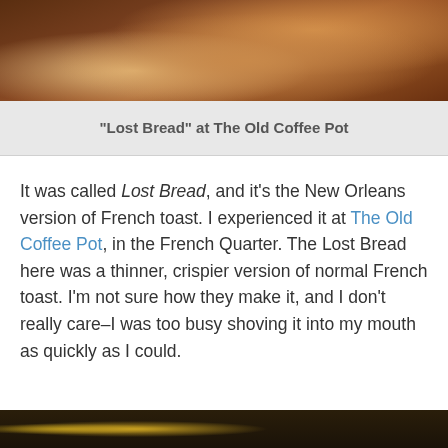[Figure (photo): Close-up photo of Lost Bread (French toast) on a white plate, showing a golden-brown crispy texture with powdered sugar on top]
“Lost Bread” at The Old Coffee Pot
It was called Lost Bread, and it’s the New Orleans version of French toast. I experienced it at The Old Coffee Pot, in the French Quarter. The Lost Bread here was a thinner, crispier version of normal French toast. I’m not sure how they make it, and I don’t really care–I was too busy shoving it into my mouth as quickly as I could.
[Figure (photo): Bottom portion of another food photo, partially cropped]